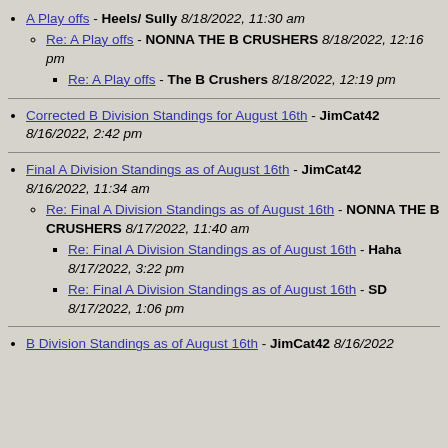A Play offs - Heels/ Sully 8/18/2022, 11:30 am
Re: A Play offs - NONNA THE B CRUSHERS 8/18/2022, 12:16 pm
Re: A Play offs - The B Crushers 8/18/2022, 12:19 pm
Corrected B Division Standings for August 16th - JimCat42 8/16/2022, 2:42 pm
Final A Division Standings as of August 16th - JimCat42 8/16/2022, 11:34 am
Re: Final A Division Standings as of August 16th - NONNA THE B CRUSHERS 8/17/2022, 11:40 am
Re: Final A Division Standings as of August 16th - Haha 8/17/2022, 3:22 pm
Re: Final A Division Standings as of August 16th - SD 8/17/2022, 1:06 pm
B Division Standings as of August 16th - JimCat42 8/16/2022